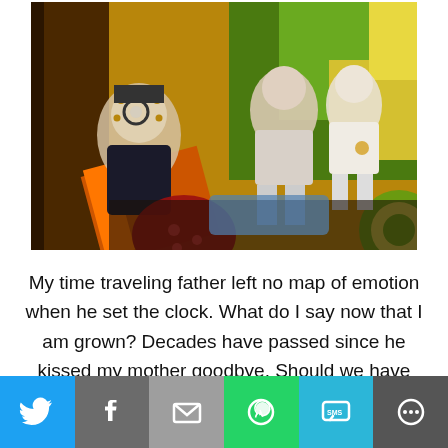[Figure (photo): A colorful mixed-media collage artwork featuring vintage-style black and white photographs of children overlaid on a vivid painted background with greens, yellows, oranges, and abstract shapes. A child wearing goggles is visible on the left, and two other children are seated on the right side of the composition.]
My time traveling father left no map of emotion when he set the clock. What do I say now that I am grown? Decades have passed since he kissed my mother goodbye. Should we have martinis and watch our photos go viral? Just before he fast
[Figure (infographic): Social sharing bar with six buttons: Twitter (blue), Facebook (grey), Email (grey), WhatsApp (green), SMS (cyan/blue), and More (dark grey) icons.]